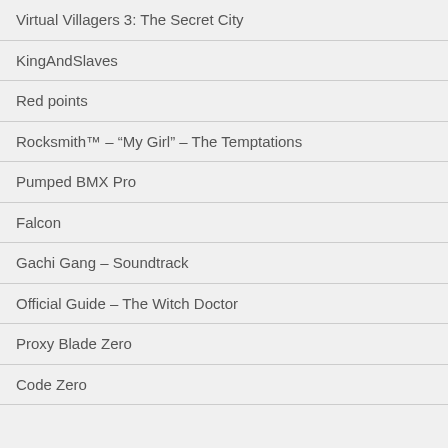Virtual Villagers 3: The Secret City
KingAndSlaves
Red points
Rocksmith™ – “My Girl” – The Temptations
Pumped BMX Pro
Falcon
Gachi Gang – Soundtrack
Official Guide – The Witch Doctor
Proxy Blade Zero
Code Zero